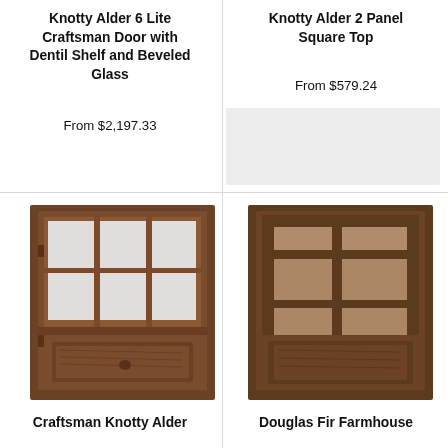Knotty Alder 6 Lite Craftsman Door with Dentil Shelf and Beveled Glass
From $2,197.33
Knotty Alder 2 Panel Square Top
From $579.24
[Figure (photo): Knotty Alder 6 Lite Craftsman door with beveled glass panels in upper half and wood panel in lower half, dark walnut stain]
[Figure (photo): Door with three vertical glass panels in upper portion and single wood panel at bottom, dark brown stain]
Craftsman Knotty Alder
Douglas Fir Farmhouse